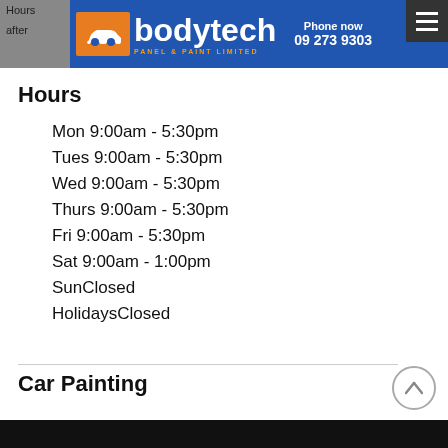[Figure (logo): Bodytech Panel & Paint Limited logo with car silhouette on blue background, Phone now 09 273 9303]
Hours Mon-Sat 9:00am - 5:30pm (Sat until 1pm), Sun and Holidays Closed after appointment only
Hours
Mon 9:00am - 5:30pm
Tues 9:00am - 5:30pm
Wed 9:00am - 5:30pm
Thurs 9:00am - 5:30pm
Fri 9:00am - 5:30pm
Sat 9:00am - 1:00pm
SunClosed
HolidaysClosed
Car Painting